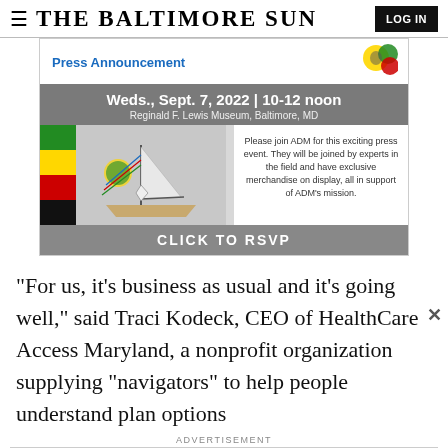THE BALTIMORE SUN
[Figure (infographic): Press Announcement advertisement for African Diaspora Maritime event: Weds., Sept. 7, 2022 | 10-12 noon at Reginald F. Lewis Museum, Baltimore, MD. Shows sailboat image with Pan-African stripe and CLICK TO RSVP button.]
"For us, it's business as usual and it's going well," said Traci Kodeck, CEO of HealthCare Access Maryland, a nonprofit organization supplying "navigators" to help people understand plan options
ADVERTISEMENT
[Figure (infographic): Bottom advertisement: Join us for an Exciting Press Announcement — African Diaspora Maritime, with Pan-African colored stripe on right side.]